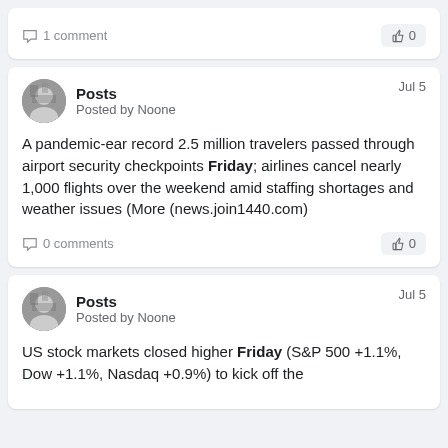1 comment
0
Posts
Posted by Noone
Jul 5
A pandemic-ear record 2.5 million travelers passed through airport security checkpoints Friday; airlines cancel nearly 1,000 flights over the weekend amid staffing shortages and weather issues (More (news.join1440.com)
0 comments
0
Posts
Posted by Noone
Jul 5
US stock markets closed higher Friday (S&P 500 +1.1%, Dow +1.1%, Nasdaq +0.9%) to kick off the